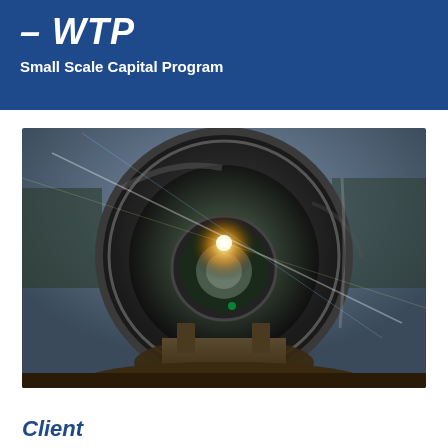– WTP
Small Scale Capital Program
[Figure (photo): View looking through a large circular pipe (water treatment pipe), with sunlight lens flare visible through the tunnel opening, showing a second smaller pipe visible in the background. The pipe is resting on construction supports outdoors.]
Client